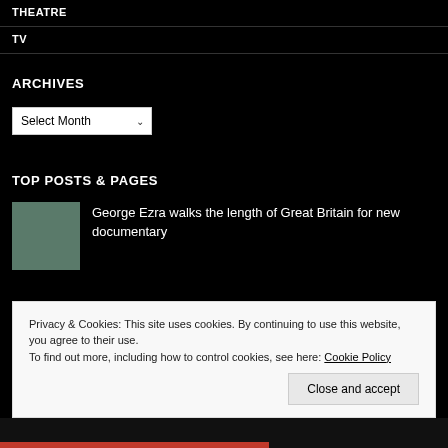THEATRE
TV
ARCHIVES
Select Month
TOP POSTS & PAGES
George Ezra walks the length of Great Britain for new documentary
Privacy & Cookies: This site uses cookies. By continuing to use this website, you agree to their use.
To find out more, including how to control cookies, see here: Cookie Policy
Close and accept